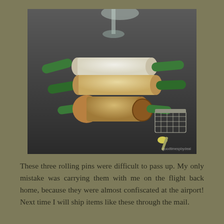[Figure (photo): Three rolling pins with green wooden handles arranged on a dark gray surface. One rolling pin has a white barrel, one is natural wood-colored, and one is a smaller French-style pin. A glass goblet stem is visible in the background upper center, and a wire mesh basket with small kitchen tools is visible in the lower right.]
These three rolling pins were difficult to pass up. My only mistake was carrying them with me on the flight back home, because they were almost confiscated at the airport! Next time I will ship items like these through the mail.